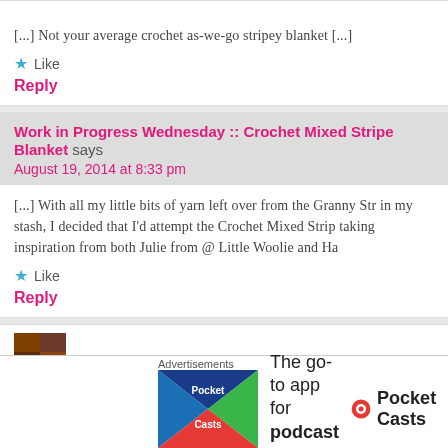[...] Not your average crochet as-we-go stripey blanket [...]
Like
Reply
Work in Progress Wednesday :: Crochet Mixed Stripe Blanket says
August 19, 2014 at 8:33 pm
[...] With all my little bits of yarn left over from the Granny Str in my stash, I decided that I'd attempt the Crochet Mixed Strip taking inspiration from both Julie from @ Little Woolie and Ha
Like
Reply
[Figure (screenshot): Advertisement banner for Pocket Casts app at bottom of page]
Advertisements
The go-to app for podcast lovers.
Pocket Casts